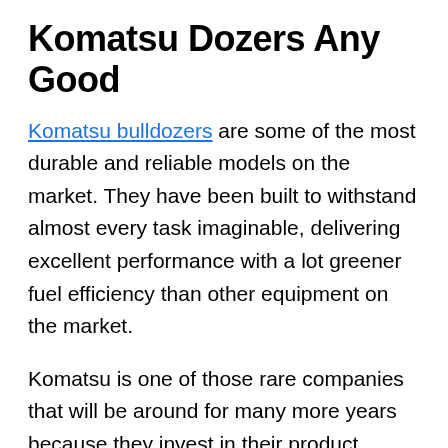Komatsu Dozers Any Good
Komatsu bulldozers are some of the most durable and reliable models on the market. They have been built to withstand almost every task imaginable, delivering excellent performance with a lot greener fuel efficiency than other equipment on the market.
Komatsu is one of those rare companies that will be around for many more years because they invest in their product development while